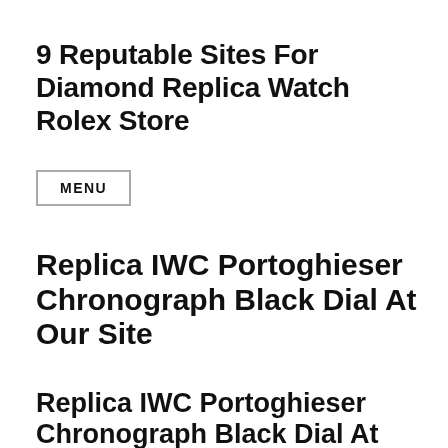9 Reputable Sites For Diamond Replica Watch Rolex Store
MENU
Replica IWC Portoghieser Chronograph Black Dial At Our Site
Replica IWC Portoghieser Chronograph Black Dial At